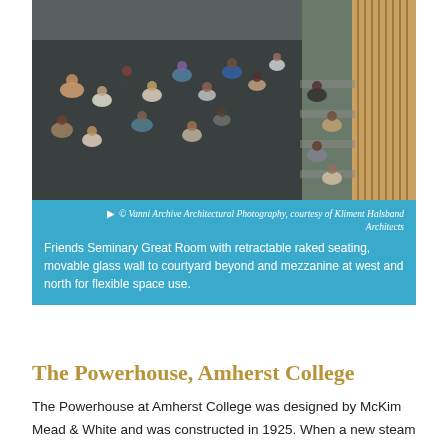[Figure (photo): Aerial view of a large room with students sitting on the floor in groups, some in stadium-style seating on the right side. The room has a polished dark floor and wood-paneled walls.]
© Vanni Archive Architectural Photography, courtesy of Kliment Halsband Architects
Friends Seminary Great Room with retractable raked seating, movable glass wall to courtyard beyond and mezzanine at west and north for flexible space use.
The Powerhouse, Amherst College
The Powerhouse at Amherst College was designed by McKim Mead & White and was constructed in 1925. When a new steam plant was built nearby, it was decommissioned and used to store maintenance equipment.